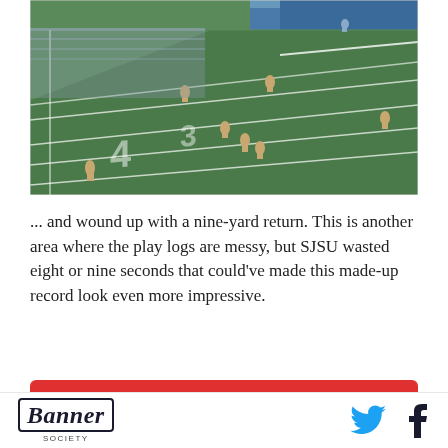[Figure (photo): Aerial view of an American football game being played on a green field. Multiple players visible in uniforms. Stadium seating visible in background. Blue end zone visible at top right.]
... and wound up with a nine-yard return. This is another area where the play logs are messy, but SJSU wasted eight or nine seconds that could've made this made-up record look even more impressive.
[Figure (other): Advertisement bar: AD badge, Lenovo brand name, red background, partial text visible below]
Banner Society — Twitter icon, Facebook icon